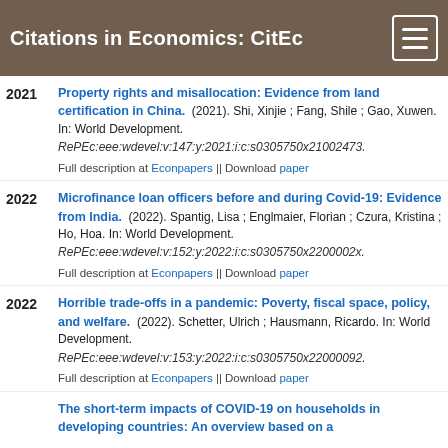Citations in Economics: CitEc
Property rights and misallocation: Evidence from land certification in China. (2021). Shi, Xinjie ; Fang, Shile ; Gao, Xuwen. In: World Development. RePEc:eee:wdevel:v:147:y:2021:i:c:s0305750x21002473. Full description at Econpapers || Download paper
Microfinance loan officers before and during Covid-19: Evidence from India. (2022). Spantig, Lisa ; Englmaier, Florian ; Czura, Kristina ; Ho, Hoa. In: World Development. RePEc:eee:wdevel:v:152:y:2022:i:c:s0305750x2200002x. Full description at Econpapers || Download paper
Horrible trade-offs in a pandemic: Poverty, fiscal space, policy, and welfare. (2022). Schetter, Ulrich ; Hausmann, Ricardo. In: World Development. RePEc:eee:wdevel:v:153:y:2022:i:c:s0305750x22000092. Full description at Econpapers || Download paper
The short-term impacts of COVID-19 on households in developing countries: An overview based on a...